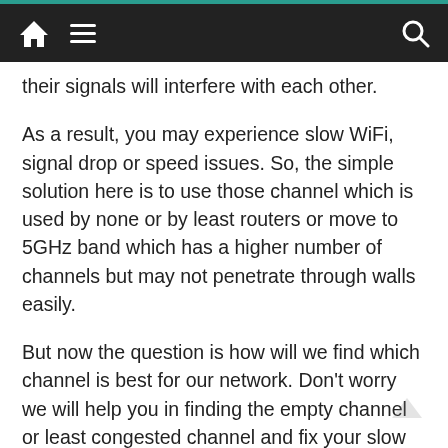Home | Menu | Search
their signals will interfere with each other.
As a result, you may experience slow WiFi, signal drop or speed issues. So, the simple solution here is to use those channel which is used by none or by least routers or move to 5GHz band which has a higher number of channels but may not penetrate through walls easily.
But now the question is how will we find which channel is best for our network. Don't worry we will help you in finding the empty channel or least congested channel and fix your slow